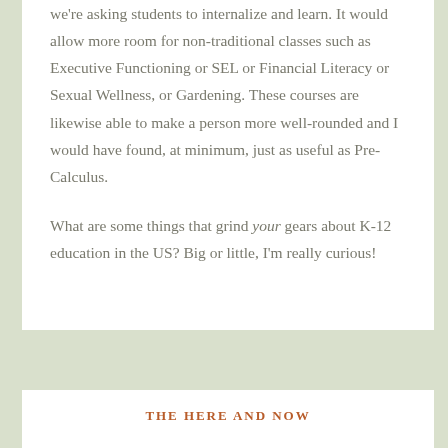we're asking students to internalize and learn. It would allow more room for non-traditional classes such as Executive Functioning or SEL or Financial Literacy or Sexual Wellness, or Gardening. These courses are likewise able to make a person more well-rounded and I would have found, at minimum, just as useful as Pre-Calculus.
What are some things that grind your gears about K-12 education in the US? Big or little, I'm really curious!
THE HERE AND NOW